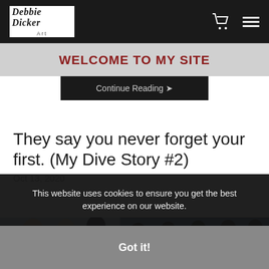Debbie Dicker Art
WELCOME TO MY SITE
Continue Reading ➤
They say you never forget your first. (My Dive Story #2)
Oct 13, 2020
[Figure (photo): Photograph of divers on a boat]
This website uses cookies to ensure you get the best experience on our website.
Got it!